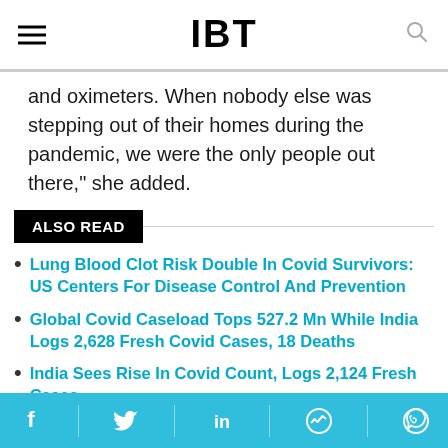IBT
and oximeters. When nobody else was stepping out of their homes during the pandemic, we were the only people out there," she added.
ALSO READ
Lung Blood Clot Risk Double In Covid Survivors: US Centers For Disease Control And Prevention
Global Covid Caseload Tops 527.2 Mn While India Logs 2,628 Fresh Covid Cases, 18 Deaths
India Sees Rise In Covid Count, Logs 2,124 Fresh Cases
Social share icons: Facebook, Twitter, LinkedIn, Messenger, WhatsApp